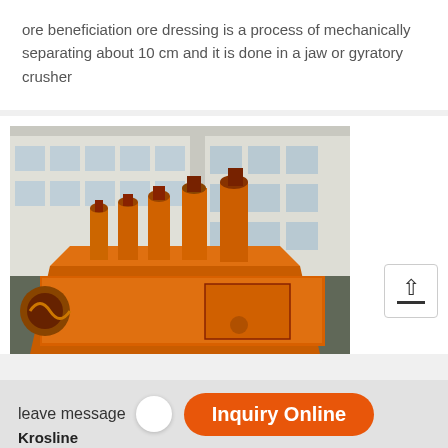ore beneficiation ore dressing is a process of mechanically separating about 10 cm and it is done in a jaw or gyratory crusher
[Figure (photo): Industrial orange-painted ore flotation/separation machinery (multiple units) lined up outdoors in front of a white multi-story factory building. The equipment features large rectangular troughs and vertical cylindrical agitator shafts.]
leave message
Inquiry Online
Krosline